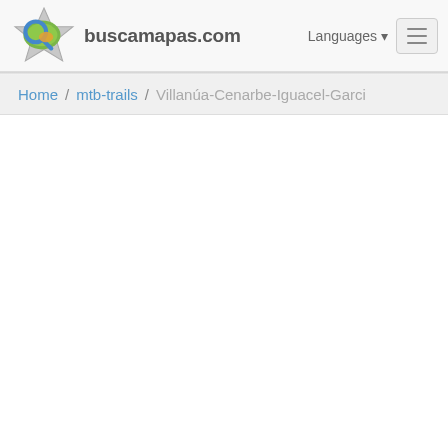buscamapas.com
Home / mtb-trails / Villanúa-Cenarbe-Iguacel-Garci